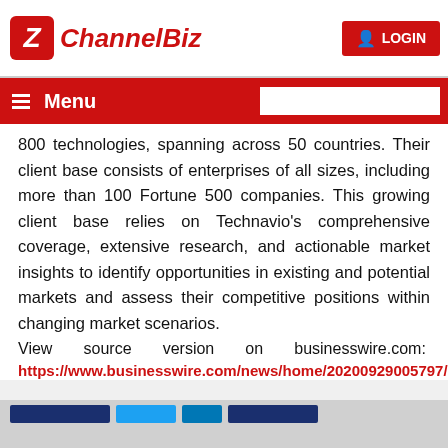ChannelBiz | LOGIN
Menu
800 technologies, spanning across 50 countries. Their client base consists of enterprises of all sizes, including more than 100 Fortune 500 companies. This growing client base relies on Technavio's comprehensive coverage, extensive research, and actionable market insights to identify opportunities in existing and potential markets and assess their competitive positions within changing market scenarios.
View source version on businesswire.com: https://www.businesswire.com/news/home/20200929005797/